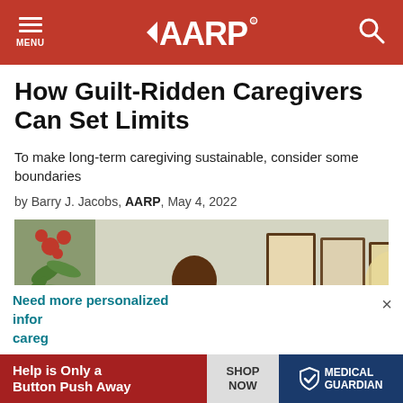AARP
How Guilt-Ridden Caregivers Can Set Limits
To make long-term caregiving sustainable, consider some boundaries
by Barry J. Jacobs, AARP, May 4, 2022
[Figure (photo): A younger woman smiling and assisting an elderly woman, with framed photos and a lamp in the background, and red flowers on the left side.]
Need more personalized infor... careg...
[Figure (infographic): Advertisement banner: Help is Only a Button Push Away | SHOP NOW | MEDICAL GUARDIAN]